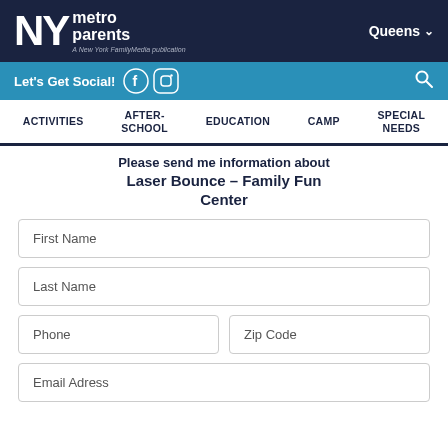NY metro parents — A New York Family Media publication — Queens
Let's Get Social!
ACTIVITIES | AFTER-SCHOOL | EDUCATION | CAMP | SPECIAL NEEDS
Please send me information about Laser Bounce – Family Fun Center
First Name
Last Name
Phone
Zip Code
Email Adress